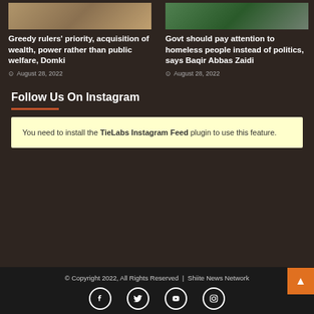[Figure (photo): Two people in traditional clothing - left article image]
Greedy rulers' priority, acquisition of wealth, power rather than public welfare, Domki
August 28, 2022
[Figure (photo): Child in traditional clothing with green background - right article image]
Govt should pay attention to homeless people instead of politics, says Baqir Abbas Zaidi
August 28, 2022
Follow Us On Instagram
You need to install the TieLabs Instagram Feed plugin to use this feature.
© Copyright 2022, All Rights Reserved  |  Shiite News Network